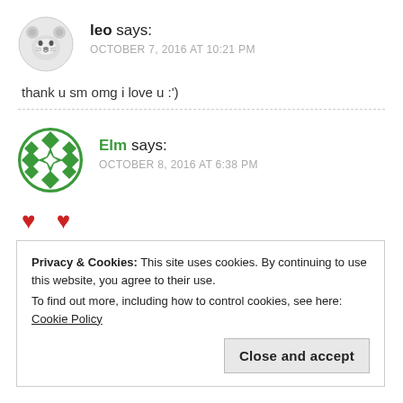[Figure (illustration): Cartoon bear/panda avatar for user leo]
leo says:
OCTOBER 7, 2016 AT 10:21 PM
thank u sm omg i love u :')
[Figure (illustration): Green geometric pattern avatar for user Elm]
Elm says:
OCTOBER 8, 2016 AT 6:38 PM
♥ ♥
Privacy & Cookies: This site uses cookies. By continuing to use this website, you agree to their use.
To find out more, including how to control cookies, see here: Cookie Policy
Close and accept